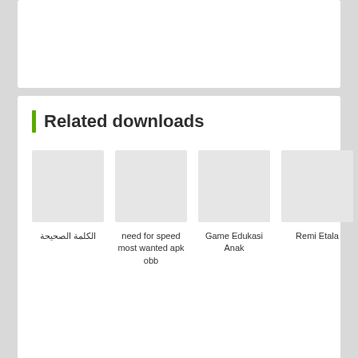Related downloads
[Figure (illustration): Thumbnail placeholder for الكلمة الصحيحة]
الكلمة الصحيحة
[Figure (illustration): Thumbnail placeholder for need for speed most wanted apk obb]
need for speed most wanted apk obb
[Figure (illustration): Thumbnail placeholder for Game Edukasi Anak]
Game Edukasi Anak
[Figure (illustration): Thumbnail placeholder for Remi Etala]
Remi Etala